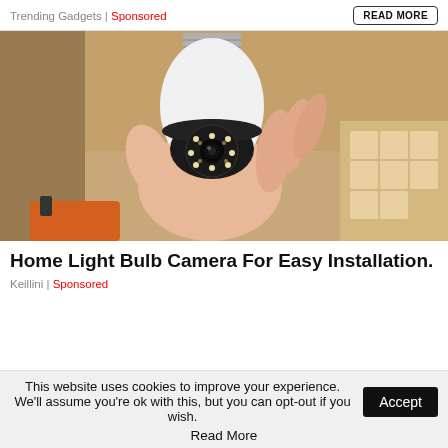Trending Gadgets | Sponsored    READ MORE
[Figure (photo): A hand holding a white light bulb-shaped security camera with LED ring around the lens, against a beige/tan background with a cardboard box visible]
Home Light Bulb Camera For Easy Installation.
Keillini | Sponsored
This website uses cookies to improve your experience. We'll assume you're ok with this, but you can opt-out if you wish. Accept
Read More